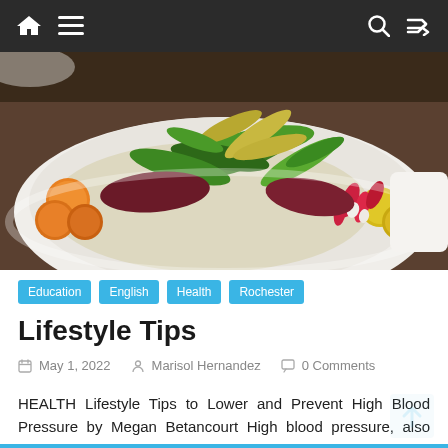Navigation bar with home, menu, search, and shuffle icons
[Figure (photo): A white bowl filled with a colorful fresh salad including cherry tomatoes, green herbs, radishes, and leafy vegetables on a wooden table background.]
Education
English
Health
Rochester
Lifestyle Tips
May 1, 2022   Marisol Hernandez   0 Comments
HEALTH Lifestyle Tips to Lower and Prevent High Blood Pressure by Megan Betancourt High blood pressure, also known as hypertension,